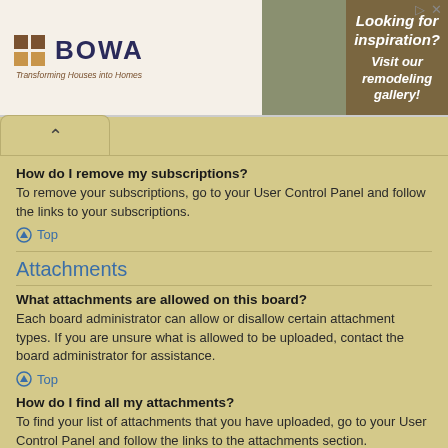[Figure (screenshot): BOWA remodeling advertisement banner with logo on left and 'Looking for inspiration? Visit our remodeling gallery!' on right with kitchen photo]
How do I remove my subscriptions?
To remove your subscriptions, go to your User Control Panel and follow the links to your subscriptions.
Top
Attachments
What attachments are allowed on this board?
Each board administrator can allow or disallow certain attachment types. If you are unsure what is allowed to be uploaded, contact the board administrator for assistance.
Top
How do I find all my attachments?
To find your list of attachments that you have uploaded, go to your User Control Panel and follow the links to the attachments section.
Top